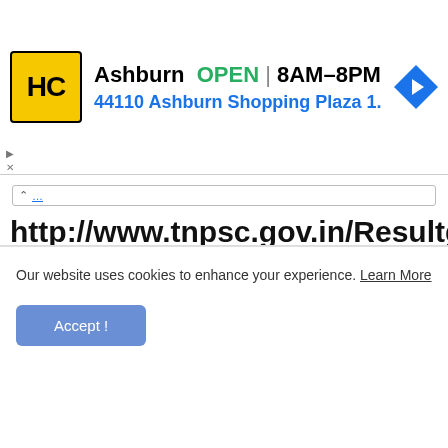[Figure (other): Advertisement banner showing HC logo, Ashburn location, OPEN 8AM-8PM hours, and address 44110 Ashburn Shopping Plaza 1. with navigation arrow icon]
http://www.tnpsc.gov.in/Resultget-CCSE_IV_2K19.html
Link 2
https://apply.tnpscexams.in/result-groupIV
Our website uses cookies to enhance your experience. Learn More
Accept !